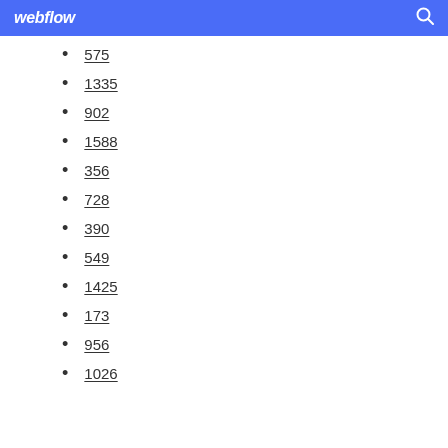webflow
575
1335
902
1588
356
728
390
549
1425
173
956
1026